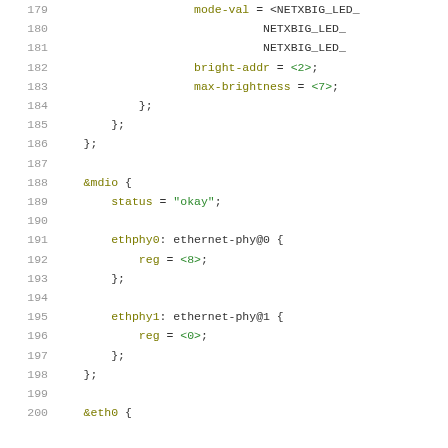[Figure (screenshot): Source code listing showing device tree configuration code (lines 179-200), with syntax highlighting. Properties shown include mode-val, bright-addr, max-brightness for LED configuration, and mdio block with ethernet-phy nodes (ethphy0, ethphy1) and eth0 block beginning.]